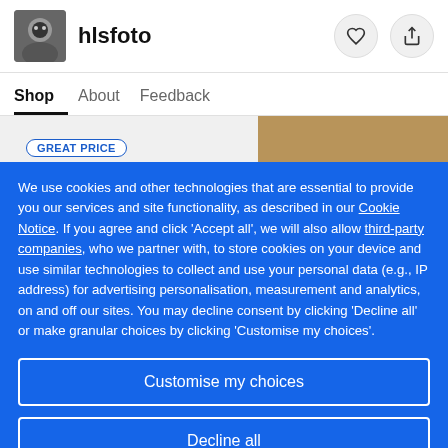hlsfoto
Shop   About   Feedback
[Figure (screenshot): Product images strip with GREAT PRICE badge]
We use cookies and other technologies that are essential to provide you our services and site functionality, as described in our Cookie Notice. If you agree and click 'Accept all', we will also allow third-party companies, who we partner with, to store cookies on your device and use similar technologies to collect and use your personal data (e.g., IP address) for advertising personalisation, measurement and analytics, on and off our sites. You may decline consent by clicking 'Decline all' or make granular choices by clicking 'Customise my choices'.
Customise my choices
Decline all